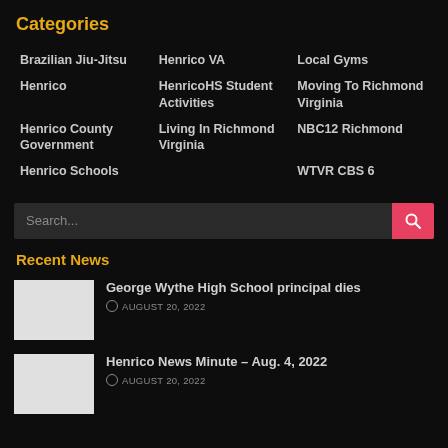Categories
Brazilian Jiu-Jitsu
Henrico
Henrico County Government
Henrico Schools
Henrico VA
HenricoHS Student Activities
Living In Richmond Virginia
Local Gyms
Moving To Richmond Virginia
NBC12 Richmond
WTVR CBS 6
Recent News
[Figure (photo): Thumbnail image for George Wythe High School principal dies]
George Wythe High School principal dies
AUGUST 20, 2022
[Figure (photo): Thumbnail image for Henrico News Minute – Aug. 4, 2022]
Henrico News Minute – Aug. 4, 2022
AUGUST 20, 2022